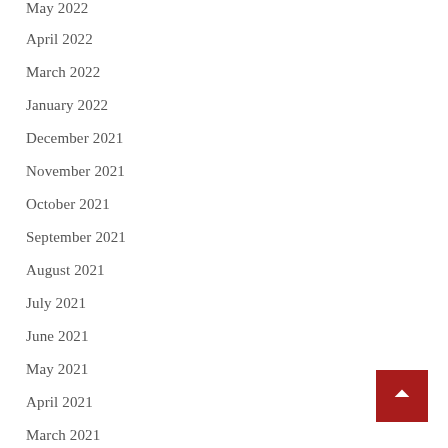May 2022
April 2022
March 2022
January 2022
December 2021
November 2021
October 2021
September 2021
August 2021
July 2021
June 2021
May 2021
April 2021
March 2021